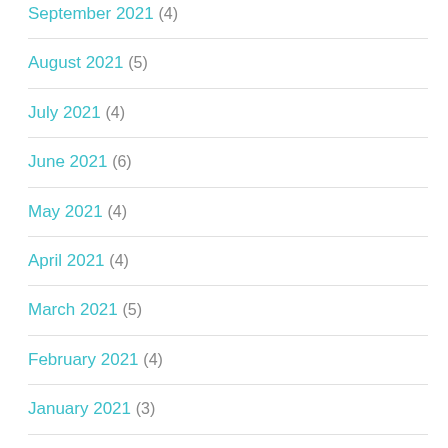September 2021 (4)
August 2021 (5)
July 2021 (4)
June 2021 (6)
May 2021 (4)
April 2021 (4)
March 2021 (5)
February 2021 (4)
January 2021 (3)